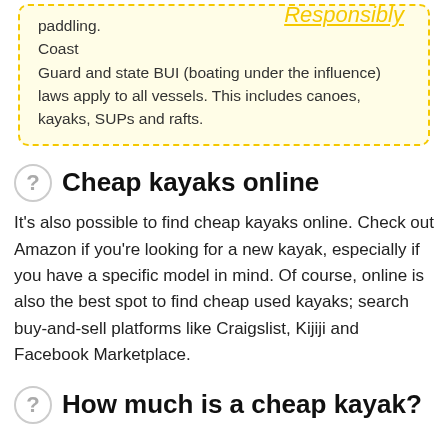paddling. Coast Guard and state BUI (boating under the influence) laws apply to all vessels. This includes canoes, kayaks, SUPs and rafts.
[Figure (illustration): Handwritten cursive text reading 'Responsibly' in yellow with underline]
Cheap kayaks online
It's also possible to find cheap kayaks online. Check out Amazon if you're looking for a new kayak, especially if you have a specific model in mind. Of course, online is also the best spot to find cheap used kayaks; search buy-and-sell platforms like Craigslist, Kijiji and Facebook Marketplace.
How much is a cheap kayak?